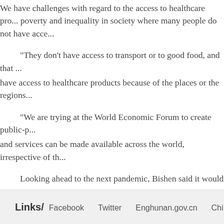We have challenges with regard to the access to healthcare pro... poverty and inequality in society where many people do not have acce...
"They don't have access to transport or to good food, and that ... have access to healthcare products because of the places or the regions...
"We are trying at the World Economic Forum to create public-p... and services can be made available across the world, irrespective of th...
Looking ahead to the next pandemic, Bishen said it would requ... share of information.
"If (the next pandemic) happens, we want to make sure we do a b... easy access to diagnostics, as well as treatments," he added.
Links/ Facebook   Twitter   Enghunan.gov.cn   Chi...